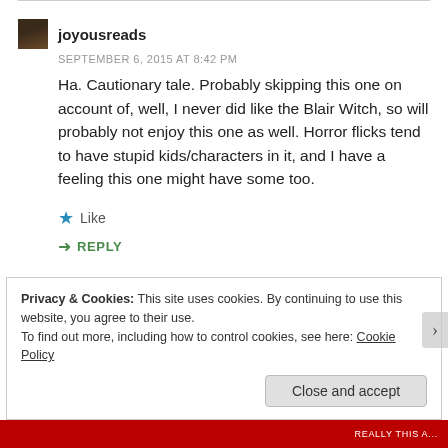joyousreads
SEPTEMBER 6, 2015 AT 8:42 PM
Ha. Cautionary tale. Probably skipping this one on account of, well, I never did like the Blair Witch, so will probably not enjoy this one as well. Horror flicks tend to have stupid kids/characters in it, and I have a feeling this one might have some too.
Like
REPLY
Privacy & Cookies: This site uses cookies. By continuing to use this website, you agree to their use.
To find out more, including how to control cookies, see here: Cookie Policy
Close and accept